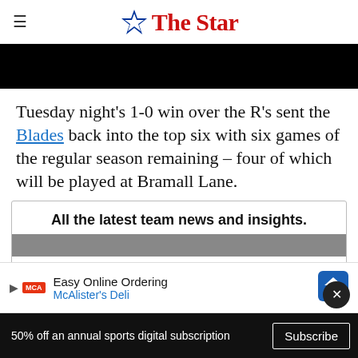The Star
[Figure (photo): Black banner image (redacted/dark photo)]
Tuesday night's 1-0 win over the R's sent the Blades back into the top six with six games of the regular season remaining – four of which will be played at Bramall Lane.
All the latest team news and insights.
Be the first to hear the latest Blades news and
[Figure (infographic): Ad overlay: Easy Online Ordering - McAlister's Deli]
50% off an annual sports digital subscription  Subscribe